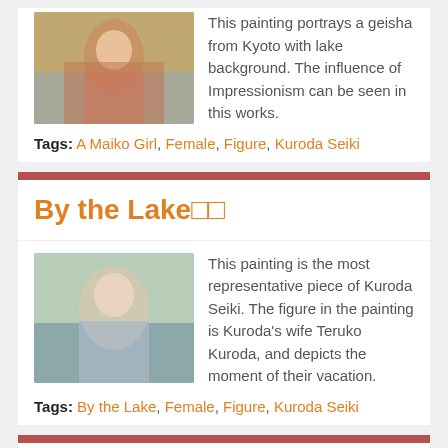[Figure (photo): Thumbnail of a painting depicting a geisha in kimono from Kyoto with lake background]
This painting portrays a geisha from Kyoto with lake background. The influence of Impressionism can be seen in this works.
Tags: A Maiko Girl, Female, Figure, Kuroda Seiki
By the Lake🔲🔲
[Figure (photo): Thumbnail of a painting showing a woman in a blue garment by a lake]
This painting is the most representative piece of Kuroda Seiki. The figure in the painting is Kuroda's wife Teruko Kuroda, and depicts the moment of their vacation.
Tags: By the Lake, Female, Figure, Kuroda Seiki
Duke Matsukata🔲🔲🔲🔲🔲🔲🔲